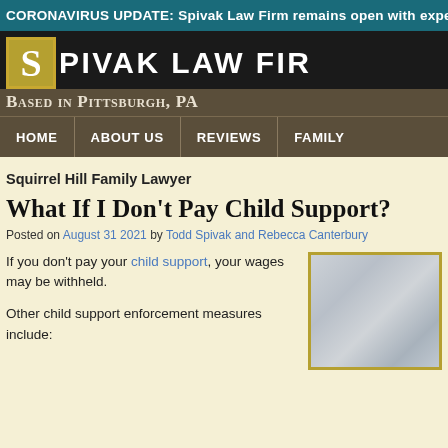CORONAVIRUS UPDATE: Spivak Law Firm remains open with experi...
[Figure (logo): Spivak Law Firm logo with S in gold box and firm name in white text on black background]
Based in Pittsburgh, PA
HOME | ABOUT US | REVIEWS | FAMILY
Squirrel Hill Family Lawyer
What If I Don't Pay Child Support?
Posted on August 31 2021 by Todd Spivak and Rebecca Canterbury
If you don't pay your child support, your wages may be withheld.
Other child support enforcement measures include: